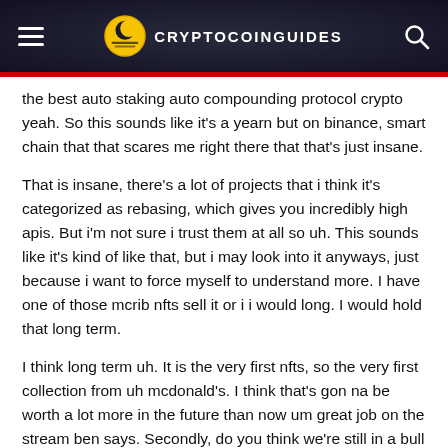CRYPTOCOINGUIDES
the best auto staking auto compounding protocol crypto yeah. So this sounds like it's a yearn but on binance, smart chain that that scares me right there that that's just insane.
That is insane, there's a lot of projects that i think it's categorized as rebasing, which gives you incredibly high apis. But i'm not sure i trust them at all so uh. This sounds like it's kind of like that, but i may look into it anyways, just because i want to force myself to understand more. I have one of those mcrib nfts sell it or i i would long. I would hold that long term.
I think long term uh. It is the very first nfts, so the very first collection from uh mcdonald's. I think that's gon na be worth a lot more in the future than now um great job on the stream ben says. Secondly, do you think we're still in a bull market despite them? Yes now, i think the the definition of a bull market in relation to the four-year cycle.